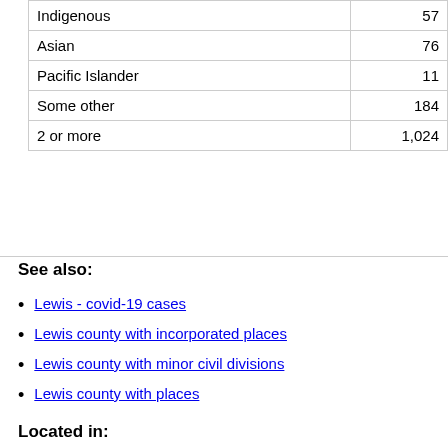|  |  |
| --- | --- |
| Indigenous | 57 |
| Asian | 76 |
| Pacific Islander | 11 |
| Some other | 184 |
| 2 or more | 1,024 |
See also:
Lewis - covid-19 cases
Lewis county with incorporated places
Lewis county with minor civil divisions
Lewis county with places
Located in:
New York state
USA: Counties
[Figure (screenshot): Video thumbnail showing 'USA: Counties' with City Population logo (teal circular icon) on dark background with three-dot menu icon]